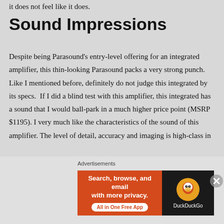it does not feel like it does.
Sound Impressions
Despite being Parasound's entry-level offering for an integrated amplifier, this thin-looking Parasound packs a very strong punch. Like I mentioned before, definitely do not judge this integrated by its specs.  If I did a blind test with this amplifier, this integrated has a sound that I would ball-park in a much higher price point (MSRP $1195). I very much like the characteristics of the sound of this amplifier. The level of detail, accuracy and imaging is high-class in
[Figure (screenshot): DuckDuckGo advertisement banner with orange left panel reading 'Search, browse, and email with more privacy. All in One Free App' and dark right panel with DuckDuckGo duck logo and brand name.]